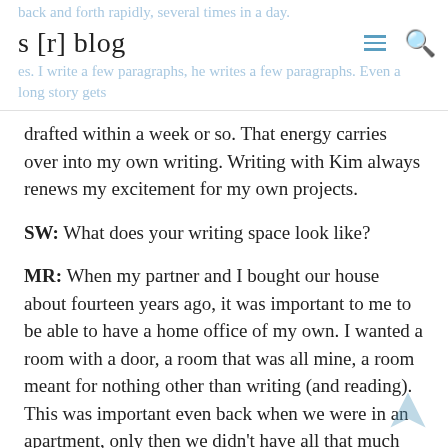s [r] blog
drafted within a week or so. That energy carries over into my own writing. Writing with Kim always renews my excitement for my own projects.
SW: What does your writing space look like?
MR: When my partner and I bought our house about fourteen years ago, it was important to me to be able to have a home office of my own. I wanted a room with a door, a room that was all mine, a room meant for nothing other than writing (and reading). This was important even back when we were in an apartment, only then we didn't have all that much space so I had converted our walk-in closet into my writing space. Since the beginning of the pandemic,